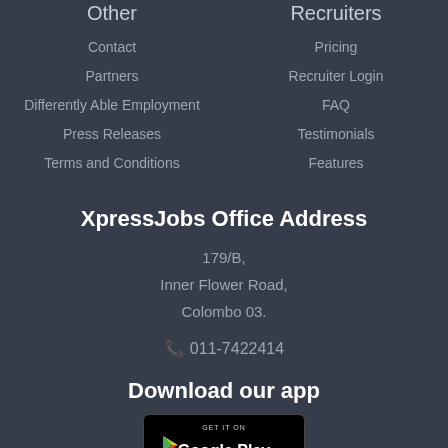Other
Contact
Partners
Differently Able Employment
Press Releases
Terms and Conditions
Recruiters
Pricing
Recruiter Login
FAQ
Testimonials
Features
XpressJobs Office Address
179/B,
Inner Flower Road,
Colombo 03.
📞 011-7422414
Download our app
[Figure (logo): Google Play Store badge with colorful play icon and text GET IT ON Google Play]